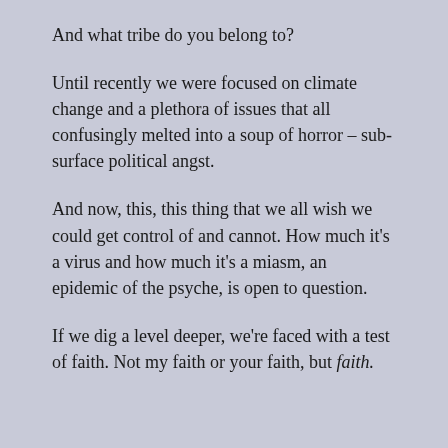And what tribe do you belong to?
Until recently we were focused on climate change and a plethora of issues that all confusingly melted into a soup of horror – sub-surface political angst.
And now, this, this thing that we all wish we could get control of and cannot. How much it's a virus and how much it's a miasm, an epidemic of the psyche, is open to question.
If we dig a level deeper, we're faced with a test of faith. Not my faith or your faith, but faith.